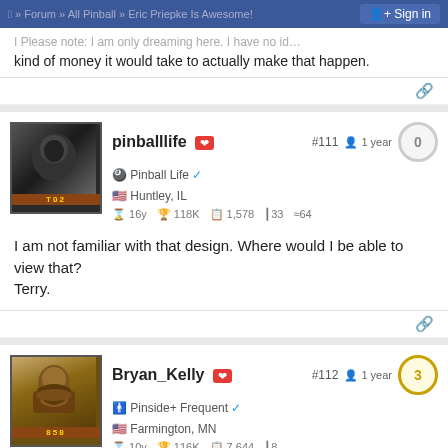Forum » All Pinball » Eric Priepke Is Awesome!   Sign in
kind of money it would take to actually make that happen.
pinballlife #111 1 year 0
Pinball Life ✓
Huntley, IL
16y 118K 1,578 33 64
I am not familiar with that design. Where would I be able to view that?
Terry.
Bryan_Kelly #112 1 year 3
Pinside+ Frequent ✓
Farmington, MN
10y 116K 7,644 8
Quoted from pinballlife: